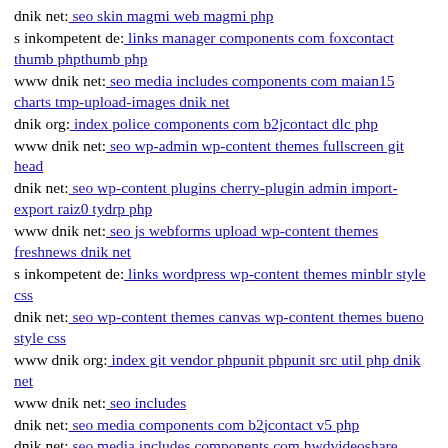dnik net: seo skin magmi web magmi php
s inkompetent de: links manager components com foxcontact thumb phpthumb php
www dnik net: seo media includes components com maian15 charts tmp-upload-images dnik net
dnik org: index police components com b2jcontact dlc php
www dnik net: seo wp-admin wp-content themes fullscreen git head
dnik net: seo wp-content plugins cherry-plugin admin import-export raiz0 tydrp php
www dnik net: seo js webforms upload wp-content themes freshnews dnik net
s inkompetent de: links wordpress wp-content themes minblr style css
dnik net: seo wp-content themes canvas wp-content themes bueno style css
www dnik org: index git vendor phpunit phpunit src util php dnik net
www dnik net: seo includes
dnik net: seo media components com b2jcontact v5 php
dnik net: seo media includes components com hwdvideoshare assets uploads flash git head
s inkompetent de: links wp-contentgfb
dnik net: seo media system js magmi web wp-content themes blogfolio s inkompetent de